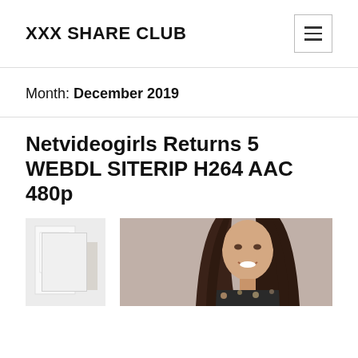XXX SHARE CLUB
Month: December 2019
Netvideogirls Returns 5 WEBDL SITERIP H264 AAC 480p
[Figure (photo): Two photos side by side: left shows an interior room scene; right shows a woman with long brown hair smiling, wearing a floral garment.]